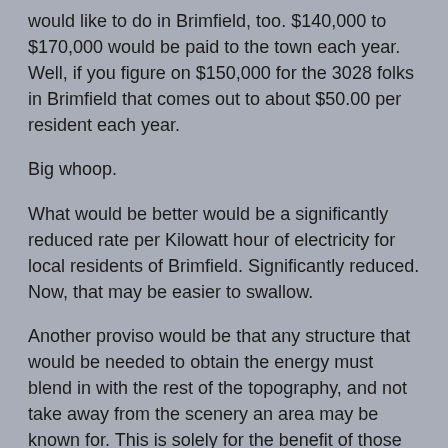would like to do in Brimfield, too.  $140,000 to $170,000 would be paid to the town each year.  Well, if you figure on $150,000 for the 3028 folks in Brimfield that comes out to about $50.00 per resident each year.
Big whoop.
What would be better would be a significantly reduced rate per Kilowatt hour of electricity for local residents of Brimfield.  Significantly reduced.  Now, that may be easier to swallow.
Another proviso would be that any structure that would be needed to obtain the energy must blend in with the rest of the topography, and not take away from the scenery an area may be known for.  This is solely for the benefit of those living in the town, and live there because of the beauty of the area, however it is probably the most difficult to do.
As I mentioned, I am all for alternative energy, but just because something is "alternative" doesn't always make it right, or a good match for an area.  Lots of thought, and planning, must be done in order to make the structures blend